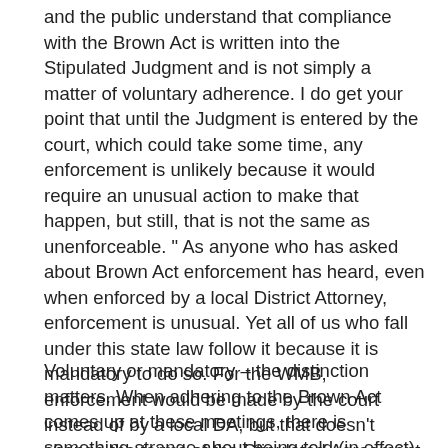and the public understand that compliance with the Brown Act is written into the Stipulated Judgment and is not simply a matter of voluntary adherence. I do get your point that until the Judgment is entered by the court, which could take some time, any enforcement is unlikely because it would require an unusual action to make that happen, but still, that is not the same as unenforceable. “ As anyone who has asked about Brown Act enforcement has heard, even when enforced by a local District Attorney, enforcement is unusual. Yet all of us who fall under this state law follow it because it is mandatory to do so. For the WMB, enforcement would be made by the court instead of by a local DA, but that doesn’t change the terms of the Stipulated Agreement, in which mandatory language is used for following the public meeting provisions of the Brown Act.
Voluntary or mandatory – the distinction matters. When adhering to the Brown Act comes up at these meetings, there is something strange about being told (in effect) to not perpetuate the details … the WMB i